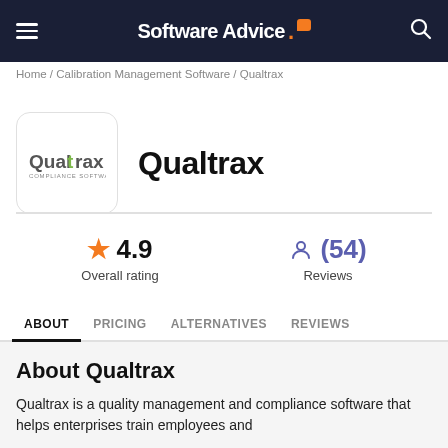Software Advice.
Home / Calibration Management Software / Qualtrax
[Figure (logo): Qualtrax Compliance Software logo — white rounded rectangle box with Qualtrax logo inside]
Qualtrax
★ 4.9
Overall rating
(54)
Reviews
ABOUT   PRICING   ALTERNATIVES   REVIEWS
About Qualtrax
Qualtrax is a quality management and compliance software that helps enterprises train employees and